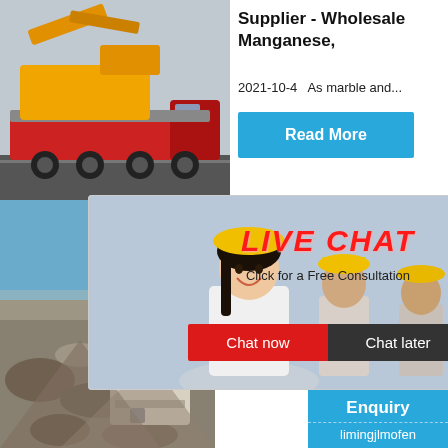[Figure (photo): Yellow heavy machinery/excavator loaded on a red flatbed truck on a road]
Supplier - Wholesale Manganese,
2021-10-4   As marble and...
Read More
[Figure (photo): Live chat popup overlay with workers in yellow hard hats, woman smiling in foreground]
LIVE CHAT
Click for a Free Consultation
Chat now
Chat later
[Figure (photo): Quarry site with stone crushing machinery and rocks]
Muadinoc
Read
[Figure (photo): Industrial crusher/jaw crusher machinery on white background]
hour online
Click me to chat>>
Enquiry
limingjlmofen